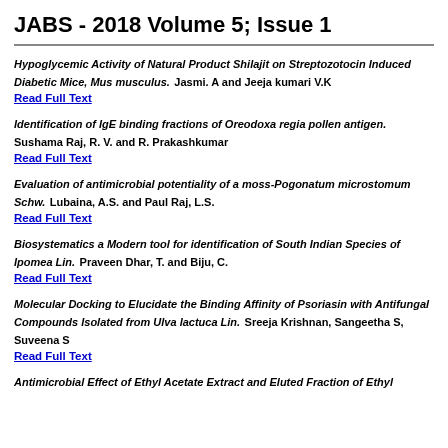JABS - 2018 Volume 5; Issue 1
Hypoglycemic Activity of Natural Product Shilajit on Streptozotocin Induced Diabetic Mice, Mus musculus. Jasmi. A and Jeeja kumari V.K
Read Full Text
Identification of IgE binding fractions of Oreodoxa regia pollen antigen. Sushama Raj, R. V. and R. Prakashkumar
Read Full Text
Evaluation of antimicrobial potentiality of a moss-Pogonatum microstomum Schw. Lubaina, A.S. and Paul Raj, L.S.
Read Full Text
Biosystematics a Modern tool for identification of South Indian Species of Ipomea Lin. Praveen Dhar, T. and Biju, C.
Read Full Text
Molecular Docking to Elucidate the Binding Affinity of Psoriasin with Antifungal Compounds Isolated from Ulva lactuca Lin. Sreeja Krishnan, Sangeetha S, Suveena S
Read Full Text
Antimicrobial Effect of Ethyl Acetate Extract and Eluted Fraction of Ethyl